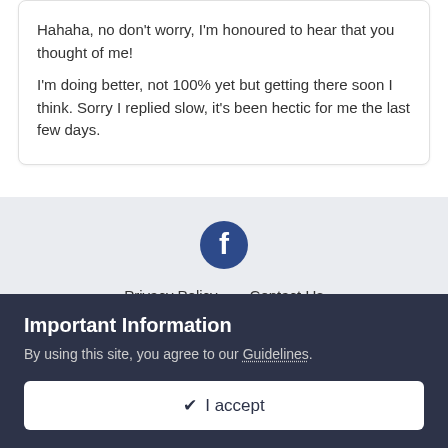Hahaha, no don't worry, I'm honoured to hear that you thought of me!
I'm doing better, not 100% yet but getting there soon I think. Sorry I replied slow, it's been hectic for me the last few days.
[Figure (screenshot): Footer section with Facebook icon, Privacy Policy and Contact Us links, and ExChristian.Net text on a light grey background]
Important Information
By using this site, you agree to our Guidelines.
✔ I accept